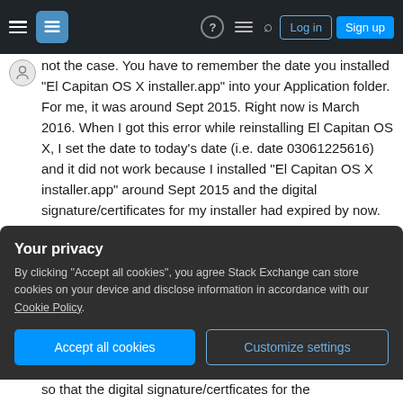Stack Exchange navigation bar with hamburger menu, logo, help, chat, search, Log in, Sign up
not the case. You have to remember the date you installed "El Capitan OS X installer.app" into your Application folder. For me, it was around Sept 2015. Right now is March 2016. When I got this error while reinstalling El Capitan OS X, I set the date to today's date (i.e. date 03061225616) and it did not work because I installed "El Capitan OS X installer.app" around Sept 2015 and the digital signature/certificates for my installer had expired by now. Once I reset the date to Sept 2015 (i.e. date 0923020415), the installation worked without a
Your privacy
By clicking "Accept all cookies", you agree Stack Exchange can store cookies on your device and disclose information in accordance with our Cookie Policy.
Accept all cookies
Customize settings
so that the digital signature/certficates for the